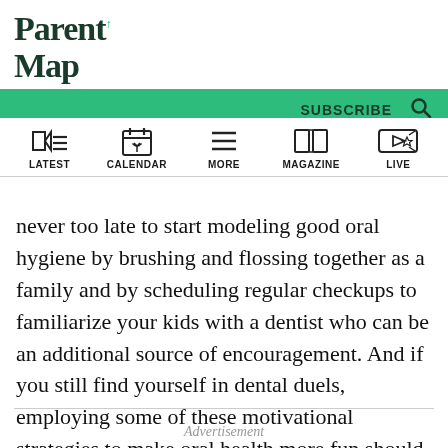ParentMap
[Figure (infographic): ParentMap website navigation bar with icons for LATEST, CALENDAR, MORE, MAGAZINE, LIVE]
never too late to start modeling good oral hygiene by brushing and flossing together as a family and by scheduling regular checkups to familiarize your kids with a dentist who can be an additional source of encouragement. And if you still find yourself in dental duels, employing some of these motivational strategies to make oral health more fun should help:
Advertisement